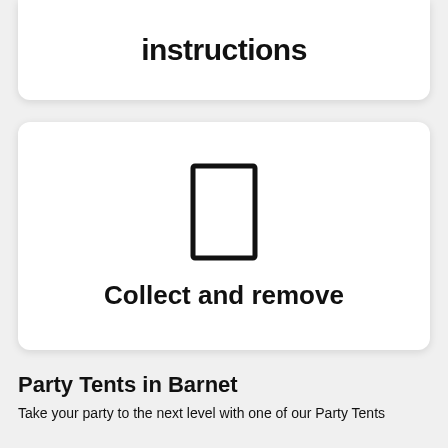instructions
[Figure (illustration): A rectangle icon representing a document or item to collect and remove]
Collect and remove
Party Tents in Barnet
Take your party to the next level with one of our Party Tents